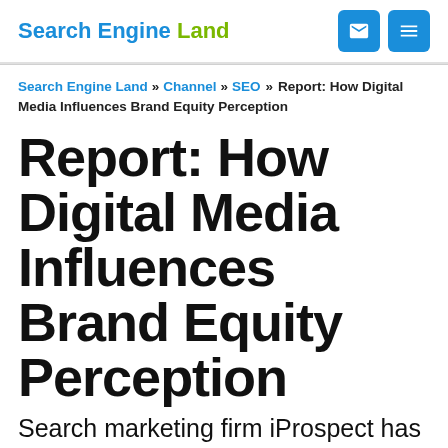Search Engine Land
Search Engine Land » Channel » SEO » Report: How Digital Media Influences Brand Equity Perception
Report: How Digital Media Influences Brand Equity Perception
Search marketing firm iProspect has released the results of its most recent research study, attempting to quantify